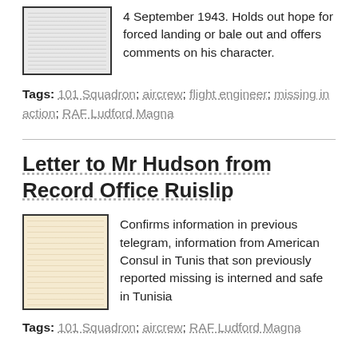[Figure (photo): Thumbnail image of a handwritten letter document]
4 September 1943. Holds out hope for forced landing or bale out and offers comments on his character.
Tags: 101 Squadron; aircrew; flight engineer; missing in action; RAF Ludford Magna
Letter to Mr Hudson from Record Office Ruislip
[Figure (photo): Thumbnail image of a typed letter on cream/beige paper]
Confirms information in previous telegram, information from American Consul in Tunis that son previously reported missing is interned and safe in Tunisia
Tags: 101 Squadron; aircrew; RAF Ludford Magna